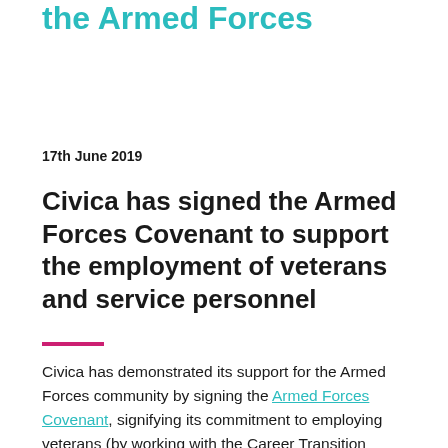the Armed Forces
17th June 2019
Civica has signed the Armed Forces Covenant to support the employment of veterans and service personnel
Civica has demonstrated its support for the Armed Forces community by signing the Armed Forces Covenant, signifying its commitment to employing veterans (by working with the Career Transition Partnership), service personnel and